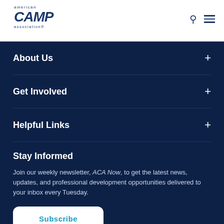american CAMP association®
About Us
Get Involved
Helpful Links
Stay Informed
Join our weekly newsletter, ACA Now, to get the latest news, updates, and professional development opportunities delivered to your inbox every Tuesday.
Subscribe